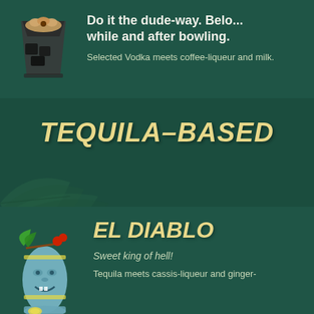Do it the dude-way. Belo... while and after bowling.
Selected Vodka meets coffee-liqueur and milk.
TEQUILA-BASED
EL DIABLO
Sweet king of hell!
Tequila meets cassis-liqueur and ginger-